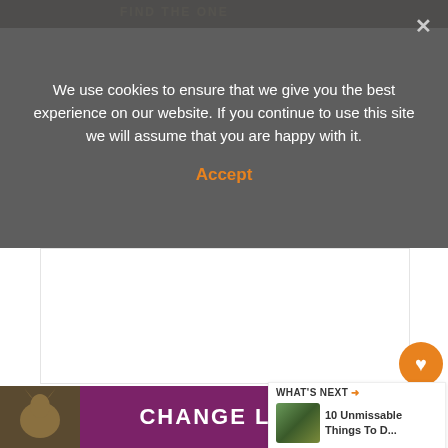We use cookies to ensure that we give you the best experience on our website. If you continue to use this site we will assume that you are happy with it.
Accept
[Figure (screenshot): White image placeholder area below cookie overlay]
[Figure (screenshot): Orange heart/like button with count 539 and share button]
[Figure (infographic): What's Next widget showing thumbnail and title: 10 Unmissable Things To D...]
From this point on, when we refer to the Pac... Highway we are only including the California portion be...
[Figure (screenshot): Bottom advertisement banner: CHANGE LIVES with cats image on purple background]